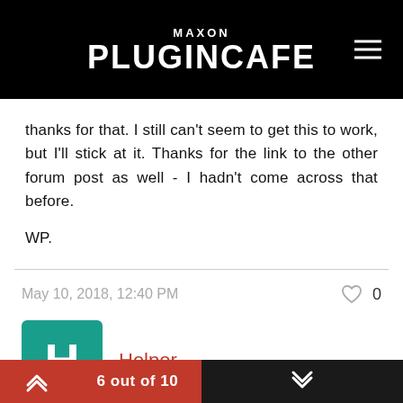MAXON PLUGINCAFE
thanks for that. I still can't seem to get this to work, but I'll stick at it. Thanks for the link to the other forum post as well - I hadn't come across that before.

WP.
May 10, 2018, 12:40 PM
0
Helper
6 out of 10